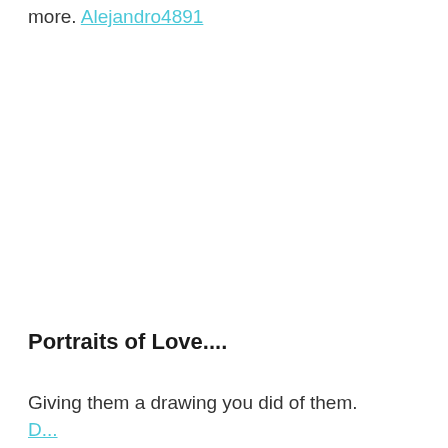more. Alejandro4891
Portraits of Love....
Giving them a drawing you did of them.